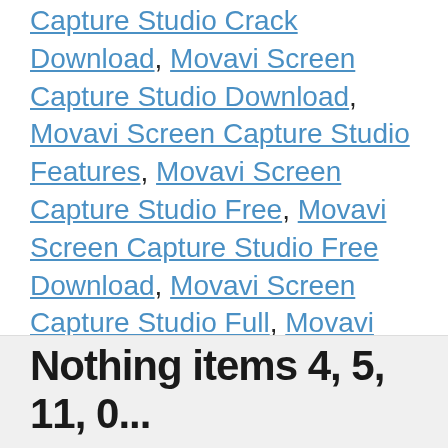Capture Studio Crack Download, Movavi Screen Capture Studio Download, Movavi Screen Capture Studio Features, Movavi Screen Capture Studio Free, Movavi Screen Capture Studio Free Download, Movavi Screen Capture Studio Full, Movavi Screen Capture Studio Full Download, Movavi Screen Capture Studio Full Free, Movavi Screen Capture Studio Key, Movavi Screen Capture Studio Latest Version, Movavi Screen Capture Studio License Key, Movavi Screen Capture Studio Serial Key
Nothing items 4, 5, 11, 0...